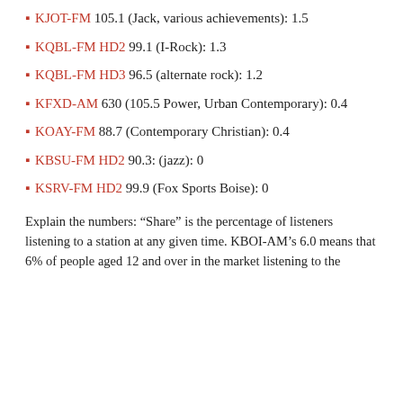KJOT-FM 105.1 (Jack, various achievements): 1.5
KQBL-FM HD2 99.1 (I-Rock): 1.3
KQBL-FM HD3 96.5 (alternate rock): 1.2
KFXD-AM 630 (105.5 Power, Urban Contemporary): 0.4
KOAY-FM 88.7 (Contemporary Christian): 0.4
KBSU-FM HD2 90.3: (jazz): 0
KSRV-FM HD2 99.9 (Fox Sports Boise): 0
Explain the numbers: “Share” is the percentage of listeners listening to a station at any given time. KBOI-AM’s 6.0 means that 6% of people aged 12 and over in the market listening to the